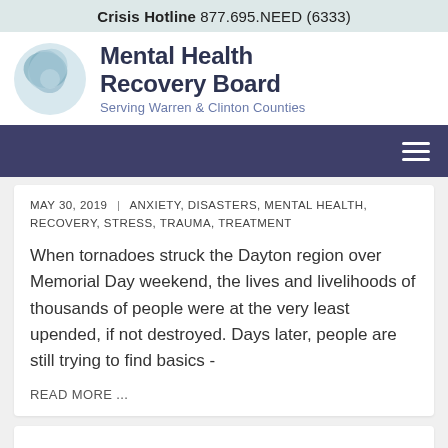Crisis Hotline 877.695.NEED (6333)
[Figure (logo): Mental Health Recovery Board logo with circular blue-green icon and text 'Mental Health Recovery Board, Serving Warren & Clinton Counties']
Mental Health Recovery Board
Serving Warren & Clinton Counties
MAY 30, 2019 | ANXIETY, DISASTERS, MENTAL HEALTH, RECOVERY, STRESS, TRAUMA, TREATMENT
When tornadoes struck the Dayton region over Memorial Day weekend, the lives and livelihoods of thousands of people were at the very least upended, if not destroyed. Days later, people are still trying to find basics -
READ MORE ...